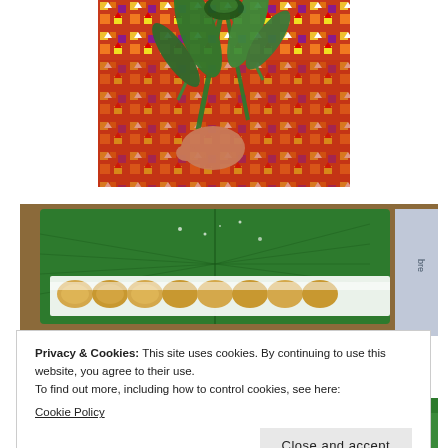[Figure (photo): A hand holding green leaves/folded pandan leaves with a colorful woven fabric background in red, yellow, orange geometric pattern]
[Figure (photo): Food items on a green banana leaf placed on a woven basket tray — rows of small coconut-covered sticky rice or similar traditional Southeast Asian sweets]
Privacy & Cookies: This site uses cookies. By continuing to use this website, you agree to their use.
To find out more, including how to control cookies, see here:
Cookie Policy
Close and accept
[Figure (photo): Partial view of another food photo, bottom strip]